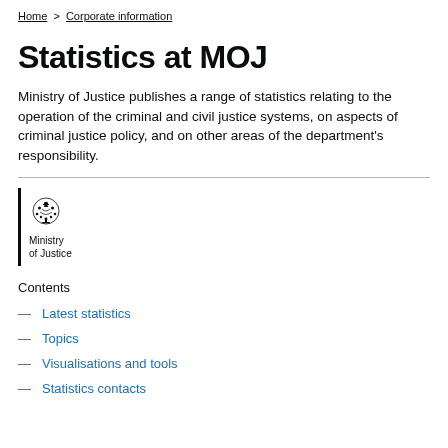Home > Corporate information
Statistics at MOJ
Ministry of Justice publishes a range of statistics relating to the operation of the criminal and civil justice systems, on aspects of criminal justice policy, and on other areas of the department’s responsibility.
[Figure (logo): Ministry of Justice crest logo with text 'Ministry of Justice']
Contents
Latest statistics
Topics
Visualisations and tools
Statistics contacts